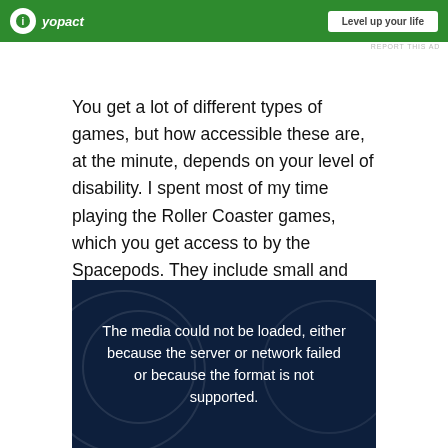[Figure (screenshot): Green advertisement banner with logo and button at top of page]
REPORT THIS AD
You get a lot of different types of games, but how accessible these are, at the minute, depends on your level of disability. I spent most of my time playing the Roller Coaster games, which you get access to by the Spacepods. They include small and big Roller Coasters, and even a Ghost Train one where various ghouls jump up at your face, but what I liked about them is how I was able to control them by moving my head. These made them feel more realistic and more creepier.
[Figure (screenshot): Dark navy media player area with error message: The media could not be loaded, either because the server or network failed or because the format is not supported.]